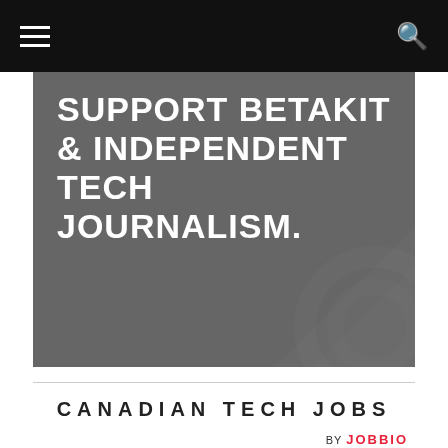Menu | Search
[Figure (illustration): Dark grey banner with bold white uppercase text: SUPPORT BETAKIT & INDEPENDENT TECH JOURNALISM. Decorative geometric shape in lower right corner.]
CANADIAN TECH JOBS
BY JOBBIO
Beanfield Technologies Inc.
Toronto
View 39 Jobs